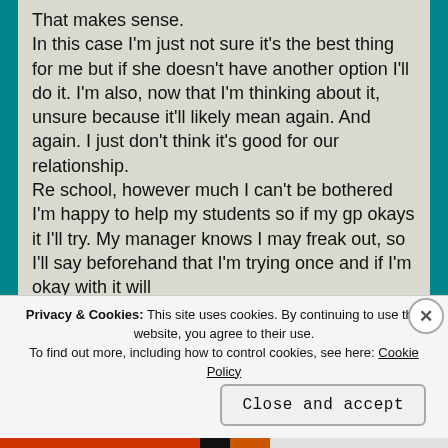That makes sense.
In this case I'm just not sure it's the best thing for me but if she doesn't have another option I'll do it. I'm also, now that I'm thinking about it, unsure because it'll likely mean again. And again. I just don't think it's good for our relationship.
Re school, however much I can't be bothered I'm happy to help my students so if my gp okays it I'll try. My manager knows I may freak out, so I'll say beforehand that I'm trying once and if I'm okay with it will
Privacy & Cookies: This site uses cookies. By continuing to use this website, you agree to their use.
To find out more, including how to control cookies, see here: Cookie Policy
Close and accept